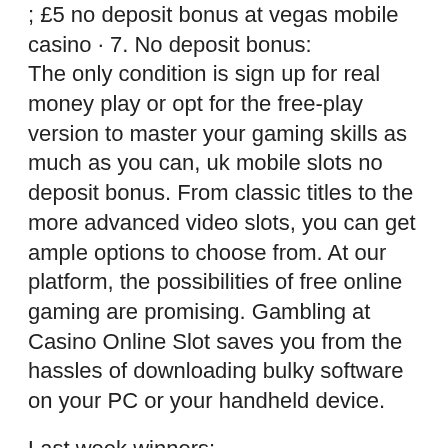; £5 no deposit bonus at vegas mobile casino · 7. No deposit bonus: The only condition is sign up for real money play or opt for the free-play version to master your gaming skills as much as you can, uk mobile slots no deposit bonus. From classic titles to the more advanced video slots, you can get ample options to choose from. At our platform, the possibilities of free online gaming are promising. Gambling at Casino Online Slot saves you from the hassles of downloading bulky software on your PC or your handheld device.
Last week winners:
Red Dragon - 595.7 eth
Books and Bulls Golden Nights - 42.6 usdt
Slots Angels - 647.6 eth
Energy Stars - 708.4 eth